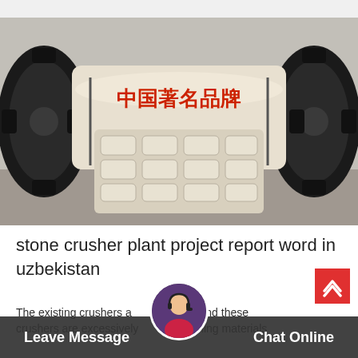[Figure (photo): Stone crusher jaw machine with white/cream colored jaw plates arranged in a grid pattern, with black flywheels on each side. Chinese text '中国著名品牌' (China Famous Brand) visible in red on the machine body. Outdoor industrial setting.]
stone crusher plant project report word in uzbekistan
The existing crushers are old ones and these crushers are excessively for crushing materials
Leave Message   Chat Online